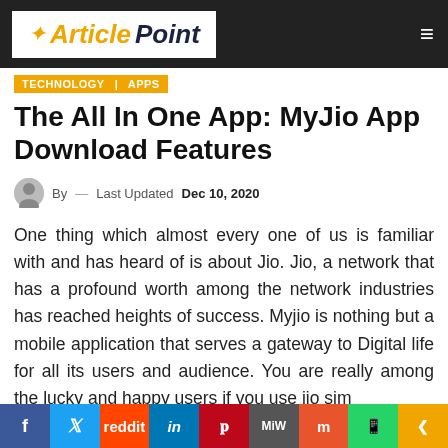Article Point — TECHNOLOGY | APPS
The All In One App: MyJio App Download Features
By — Last Updated Dec 10, 2020
One thing which almost every one of us is familiar with and has heard of is about Jio. Jio, a network that has a profound worth among the network industries has reached heights of success. Myjio is nothing but a mobile application that serves a gateway to Digital life for all its users and audience. You are really among the lucky and happy users if you use jio sim
f  Twitter  Reddit  in  Pinterest  MW  Mix  WhatsApp  Share